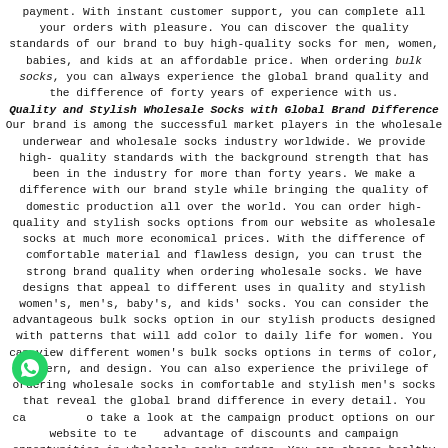payment. With instant customer support, you can complete all your orders with pleasure. You can discover the quality standards of our brand to buy high-quality socks for men, women, babies, and kids at an affordable price. When ordering bulk socks, you can always experience the global brand quality and the difference of forty years of experience with us.
Quality and Stylish Wholesale Socks with Global Brand Difference
Our brand is among the successful market players in the wholesale underwear and wholesale socks industry worldwide. We provide high-quality standards with the background strength that has been in the industry for more than forty years. We make a difference with our brand style while bringing the quality of domestic production all over the world. You can order high-quality and stylish socks options from our website as wholesale socks at much more economical prices. With the difference of comfortable material and flawless design, you can trust the strong brand quality when ordering wholesale socks. We have designs that appeal to different uses in quality and stylish women's, men's, baby's, and kids' socks. You can consider the advantageous bulk socks option in our stylish products designed with patterns that will add color to daily life for women. You can view different women's bulk socks options in terms of color, pattern, and design. You can also experience the privilege of ordering wholesale socks in comfortable and stylish men's socks that reveal the global brand difference in every detail. You can take a look at the campaign product options on our website to take advantage of discounts and campaign opportunities in wholesale socks orders. You can choose healthy baby socks with cotton material quality in baby socks. Our experience at the store more than the baby and
[Figure (logo): WhatsApp green chat icon (circular green background with white phone/chat symbol)]